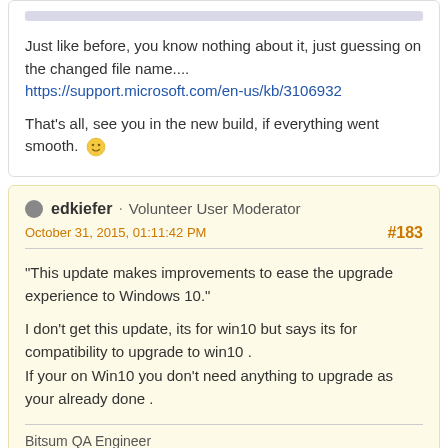Just like before, you know nothing about it, just guessing on the changed file name.... https://support.microsoft.com/en-us/kb/3106932
That's all, see you in the new build, if everything went smooth. :)
edkiefer · Volunteer User Moderator
October 31, 2015, 01:11:42 PM
#183
"This update makes improvements to ease the upgrade experience to Windows 10."
I don't get this update, its for win10 but says its for compatibility to upgrade to win10 . If your on Win10 you don't need anything to upgrade as your already done .
Bitsum QA Engineer